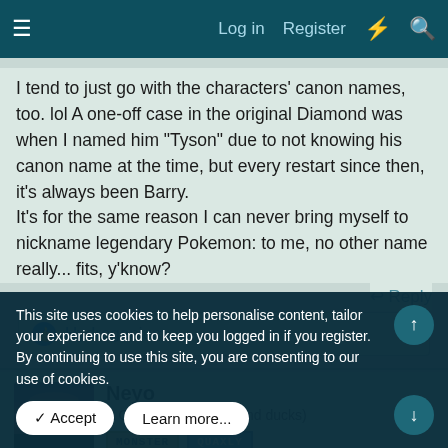Log in  Register
I tend to just go with the characters' canon names, too. lol A one-off case in the original Diamond was when I named him "Tyson" due to not knowing his canon name at the time, but every restart since then, it's always been Barry.
It's for the same reason I can never bring myself to nickname legendary Pokemon: to me, no other name really... fits, y'know?
↩ Reply
👍 Hydrogenium
Neyo
A Clown of Silksong (and ducks)
This site uses cookies to help personalise content, tailor your experience and to keep you logged in if you register.
By continuing to use this site, you are consenting to our use of cookies.
✓ Accept   Learn more...